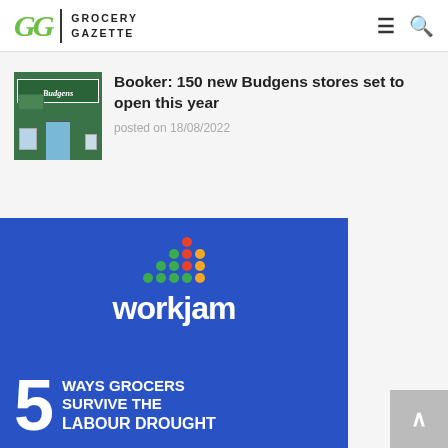Grocery Gazette
Booker: 150 new Budgens stores set to open this year
posted on 18/08/2022
[Figure (illustration): WorkJam advertisement banner on blue background with dots logo above text reading: 5 WAYS GROCERS SURVIVE THE LABOUR DROUGHT]